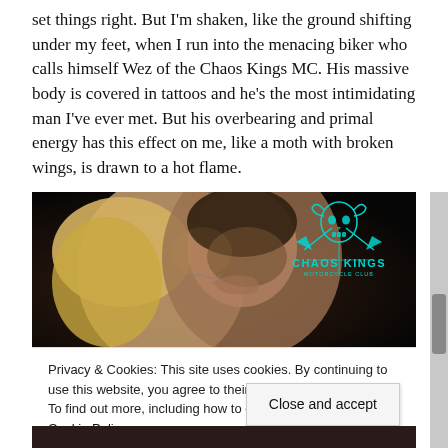set things right. But I'm shaken, like the ground shifting under my feet, when I run into the menacing biker who calls himself Wez of the Chaos Kings MC. His massive body is covered in tattoos and he's the most intimidating man I've ever met. But his overbearing and primal energy has this effect on me, like a moth with broken wings, is drawn to a hot flame.
[Figure (photo): A couple in an intimate close embrace against a dark background, with the Chaos Kings Motorcycle Club logo (teal skull with crossed axes and horns) in the upper right corner. Text reads 'CHAOS KINGS MOTORCYCLE CLUB' in teal.]
Privacy & Cookies: This site uses cookies. By continuing to use this website, you agree to their use.
To find out more, including how to control cookies, see here:
Cookie Policy
Close and accept